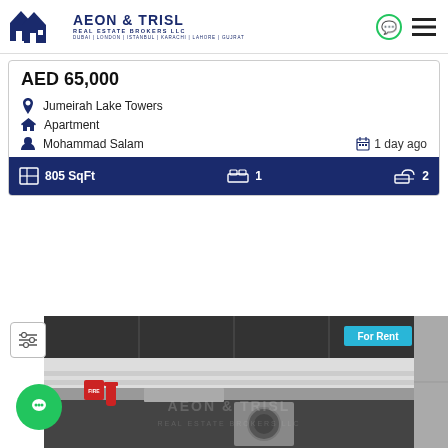AEON & TRISL REAL ESTATE BROKERS LLC | DUBAI | LONDON | ISTANBUL | KARACHI | LAHORE | GUJRAT
AED 65,000
Jumeirah Lake Towers
Apartment
Mohammad Salam | 1 day ago
805 SqFt | 1 bedroom | 2 bathrooms
[Figure (photo): Interior kitchen photo of apartment for rent showing dark cabinetry, appliances including washing machine and refrigerator, fire extinguisher, with AEON & TRISL watermark and 'For Rent' badge in cyan]